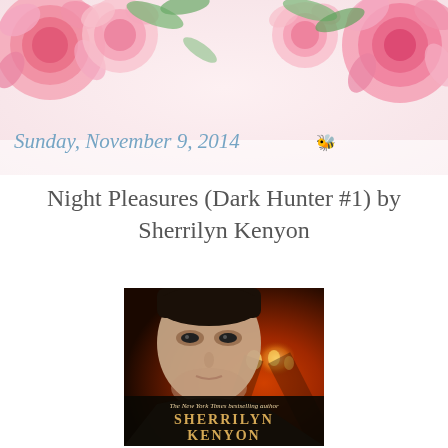[Figure (illustration): Decorative floral header banner with pink roses and green leaves on a light background, with the date 'Sunday, November 9, 2014' overlaid in blue italic text with a small bee emoji]
Night Pleasures (Dark Hunter #1) by Sherrilyn Kenyon
[Figure (photo): Book cover of Night Pleasures by Sherrilyn Kenyon showing a man's face with glowing city lights in background, with text 'The New York Times bestselling author' and author name 'SHERRILYN KENYON' in large gold letters]